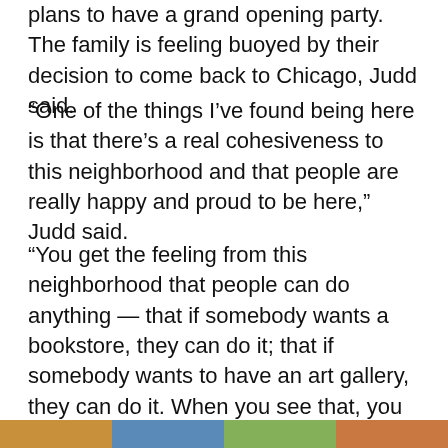plans to have a grand opening party. The family is feeling buoyed by their decision to come back to Chicago, Judd said.
“One of the things I’ve found being here is that there’s a real cohesiveness to this neighborhood and that people are really happy and proud to be here,” Judd said.
“You get the feeling from this neighborhood that people can do anything — that if somebody wants a bookstore, they can do it; that if somebody wants to have an art gallery, they can do it. When you see that, you realize what a vibrant place it is, and if there’s anything we can add, that’s fine.”
[Figure (photo): A partial photo strip visible at the bottom of the page showing colorful imagery.]